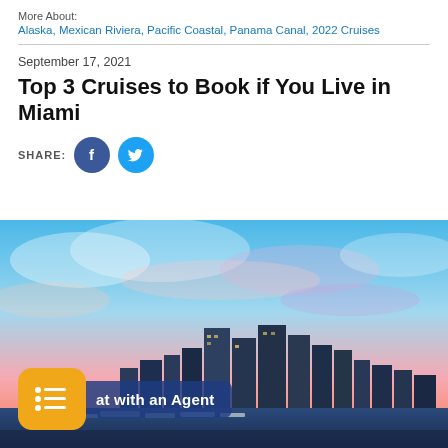More About:
Alaska, Mexican Riviera, Pacific Coastal, Panama Canal, 2022 Cruises
Top 3 Cruises to Book if You Live in Miami
September 17, 2021
SHARE:
[Figure (photo): Miami city skyline at dusk with colorful dramatic sky and marina in foreground]
at with an Agent